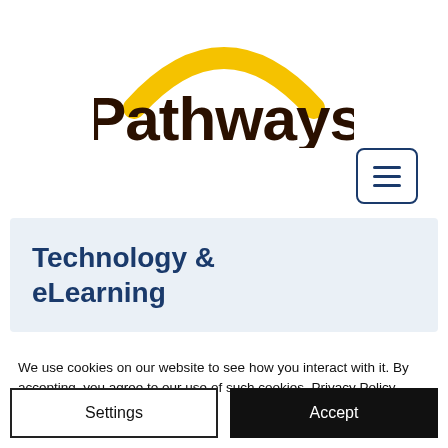[Figure (logo): Pathways logo with yellow arc above dark brown bold text reading 'Pathways']
[Figure (other): Hamburger menu button icon — three horizontal lines in a rounded rectangle border]
Technology & eLearning
We use cookies on our website to see how you interact with it. By accepting, you agree to our use of such cookies. Privacy Policy
Settings
Accept